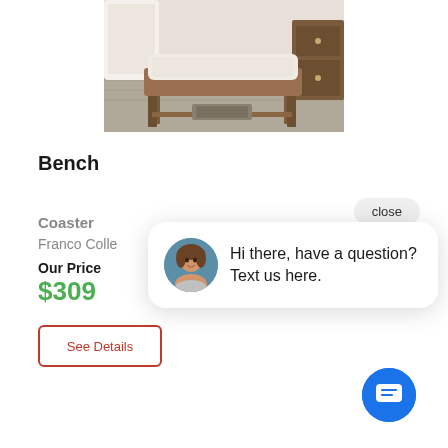[Figure (photo): Photo of a wooden bench with upholstered seat in a bedroom setting]
Bench
Coaster
Franco Colle
Our Price
$309
close
Hi there, have a question? Text us here.
See Details